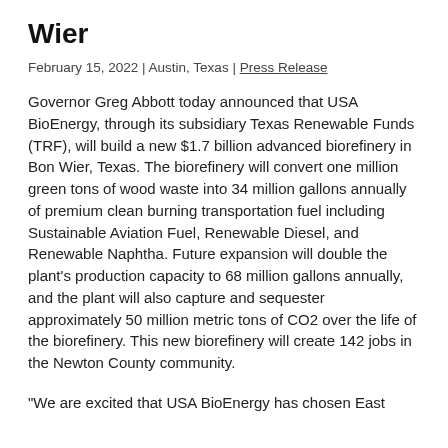Wier
February 15, 2022 | Austin, Texas | Press Release
Governor Greg Abbott today announced that USA BioEnergy, through its subsidiary Texas Renewable Funds (TRF), will build a new $1.7 billion advanced biorefinery in Bon Wier, Texas. The biorefinery will convert one million green tons of wood waste into 34 million gallons annually of premium clean burning transportation fuel including Sustainable Aviation Fuel, Renewable Diesel, and Renewable Naphtha. Future expansion will double the plant's production capacity to 68 million gallons annually, and the plant will also capture and sequester approximately 50 million metric tons of CO2 over the life of the biorefinery. This new biorefinery will create 142 jobs in the Newton County community.
"We are excited that USA BioEnergy has chosen East